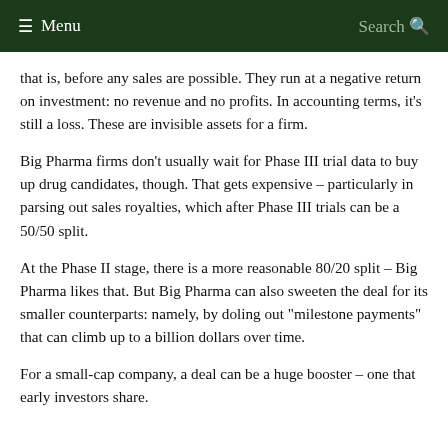≡ Menu   Search 🔍
that is, before any sales are possible. They run at a negative return on investment: no revenue and no profits. In accounting terms, it's still a loss. These are invisible assets for a firm.
Big Pharma firms don't usually wait for Phase III trial data to buy up drug candidates, though. That gets expensive – particularly in parsing out sales royalties, which after Phase III trials can be a 50/50 split.
At the Phase II stage, there is a more reasonable 80/20 split – Big Pharma likes that. But Big Pharma can also sweeten the deal for its smaller counterparts: namely, by doling out "milestone payments" that can climb up to a billion dollars over time.
For a small-cap company, a deal can be a huge booster – one that early investors share.